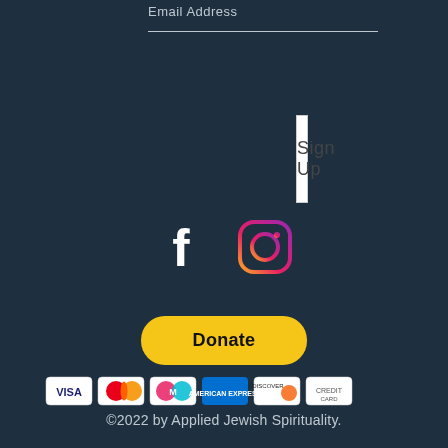Email Address
Sign Up
[Figure (logo): Facebook and Instagram social media icons]
[Figure (other): PayPal Donate button with payment method icons (Visa, Mastercard, Maestro, American Express, Discover, credit card)]
©2022 by Applied Jewish Spirituality.